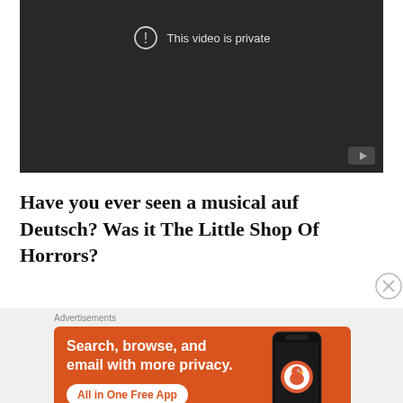[Figure (screenshot): YouTube video player showing 'This video is private' message on dark background, with YouTube logo icon in bottom right corner]
Have you ever seen a musical auf Deutsch?  Was it The Little Shop Of Horrors?
[Figure (screenshot): DuckDuckGo advertisement banner with orange background. Text: 'Search, browse, and email with more privacy. All in One Free App' with DuckDuckGo logo and phone mockup on right side]
Advertisements